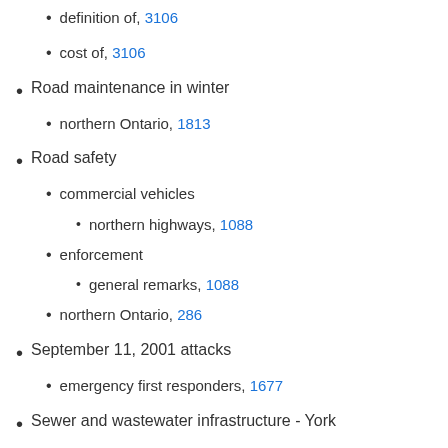definition of, 3106
cost of, 3106
Road maintenance in winter
northern Ontario, 1813
Road safety
commercial vehicles
northern highways, 1088
enforcement
general remarks, 1088
northern Ontario, 286
September 11, 2001 attacks
emergency first responders, 1677
Sewer and wastewater infrastructure - York